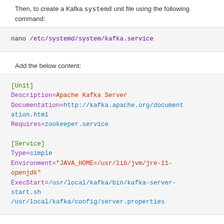Then, to create a Kafka systemd unit file using the following command:
nano /etc/systemd/system/kafka.service
Add the below content:
[Unit]
Description=Apache Kafka Server
Documentation=http://kafka.apache.org/documentation.html
Requires=zookeeper.service

[Service]
Type=simple
Environment="JAVA_HOME=/usr/lib/jvm/jre-11-openjdk"
ExecStart=/usr/local/kafka/bin/kafka-server-start.sh
/usr/local/kafka/config/server.properties